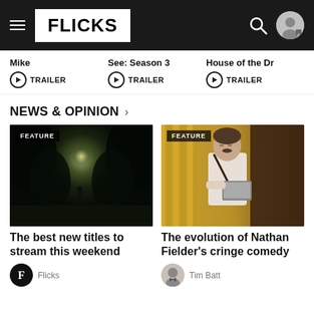FLICKS
Mike – TRAILER
See: Season 3 – TRAILER
House of the Dr – TRAILER
NEWS & OPINION
[Figure (photo): Dark forest tunnel with a silhouette figure walking toward light, with FEATURE badge]
The best new titles to stream this weekend
Flicks
[Figure (photo): Man with shoulder bag holding a laptop in a store/library setting, with FEATURE badge]
The evolution of Nathan Fielder's cringe comedy
Tim Batt